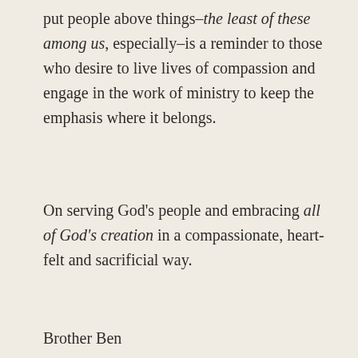put people above things–the least of these among us, especially–is a reminder to those who desire to live lives of compassion and engage in the work of ministry to keep the emphasis where it belongs.
On serving God's people and embracing all of God's creation in a compassionate, heart-felt and sacrificial way.
Brother Ben